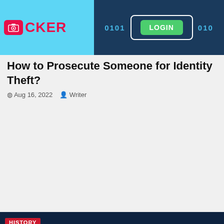[Figure (screenshot): Top banner with camera/locker logo on cyan background, binary digits and LOGIN button on dark blue background]
How to Prosecute Someone for Identity Theft?
Aug 16, 2022  Writer
[Figure (infographic): Kidney Disease infographic on dark blue background showing glowing kidney illustration with list: Kidney Stone, Kidney Infection, Nephrology, Polycystic kidney disease, Kidney cancer, Chronic kidney disease. PipPedia logo and HISTORY badge visible.]